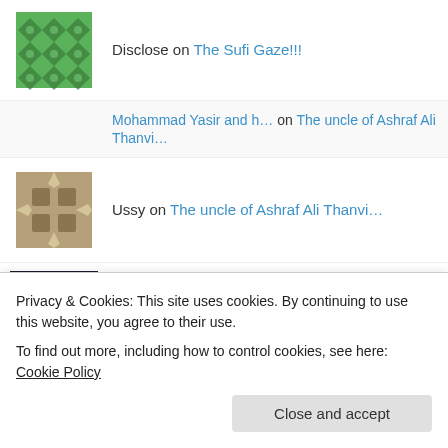Disclose on The Sufi Gaze!!!
Mohammad Yasir and h… on The uncle of Ashraf Ali Thanvi…
Ussy on The uncle of Ashraf Ali Thanvi…
Islam for universe on Step by Step Guide on How to L…
omarshah29 on Step by Step Guide on How to L…
Bilal on Four Rakaat Sunnah before Isha…
Privacy & Cookies: This site uses cookies. By continuing to use this website, you agree to their use.
To find out more, including how to control cookies, see here: Cookie Policy